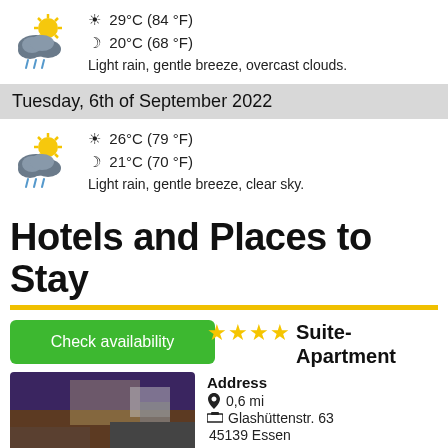[Figure (illustration): Weather icon for partly cloudy with rain]
☀ 29°C (84 °F)
☽ 20°C (68 °F)
Light rain, gentle breeze, overcast clouds.
Tuesday, 6th of September 2022
[Figure (illustration): Weather icon for partly cloudy with rain]
☀ 26°C (79 °F)
☽ 21°C (70 °F)
Light rain, gentle breeze, clear sky.
Hotels and Places to Stay
Check availability
★★★★ Suite-Apartment
Address
0,6 mi
Glashüttenstr. 63
45139 Essen
[Figure (photo): Interior photo of Suite-Apartment hotel room]